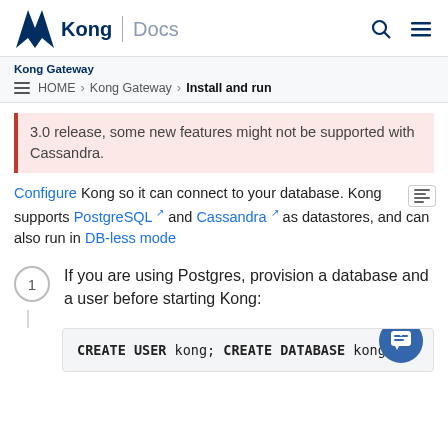Kong | Docs
Kong Gateway > HOME > Kong Gateway > Install and run
3.0 release, some new features might not be supported with Cassandra.
Configure Kong so it can connect to your database. Kong supports PostgreSQL and Cassandra as datastores, and can also run in DB-less mode
1. If you are using Postgres, provision a database and a user before starting Kong:
CREATE USER kong; CREATE DATABASE kong